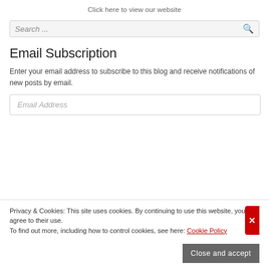Click here to view our website
[Figure (screenshot): Search bar with placeholder text 'Search ...' and a search icon on the right]
Email Subscription
Enter your email address to subscribe to this blog and receive notifications of new posts by email.
[Figure (screenshot): Email Address input field placeholder]
Privacy & Cookies: This site uses cookies. By continuing to use this website, you agree to their use.
To find out more, including how to control cookies, see here: Cookie Policy
Close and accept